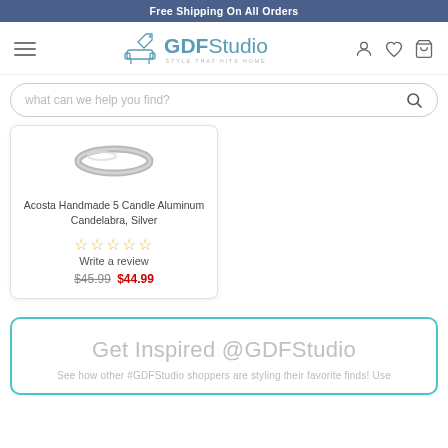Free Shipping On All Orders
[Figure (logo): GDF Studio logo with furniture icon and tagline 'STYLE THAT HITS HOME']
what can we help you find?
[Figure (photo): Acosta Handmade 5 Candle Aluminum Candelabra in Silver - product image showing silver ring-shaped candelabra]
Acosta Handmade 5 Candle Aluminum Candelabra, Silver
☆☆☆☆☆ Write a review
$45.99 $44.99
Get Inspired @GDFStudio
See how other #GDFStudio shoppers are styling their favorite finds! Use